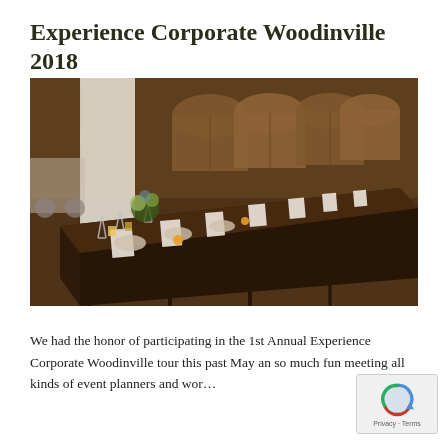Experience Corporate Woodinville 2018
[Figure (photo): Long banquet dining table set for an event inside a winery, with dark wood tables, white napkins, floral centerpieces, glassware, and wine barrels visible in the background.]
We had the honor of participating in the 1st Annual Experience Corporate Woodinville tour this past May an so much fun meeting all kinds of event planners and working